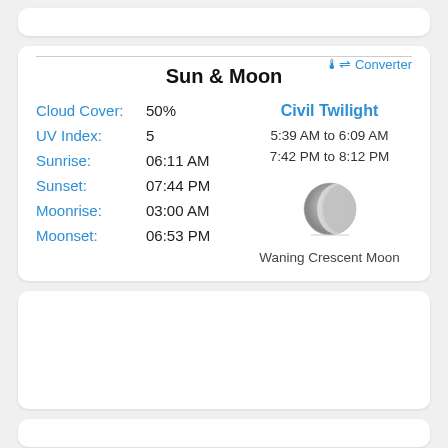Sun & Moon
Converter
Cloud Cover: 50%
UV Index: 5
Sunrise: 06:11 AM
Sunset: 07:44 PM
Moonrise: 03:00 AM
Moonset: 06:53 PM
Civil Twilight
5:39 AM to 6:09 AM
7:42 PM to 8:12 PM
[Figure (illustration): Waning Crescent Moon illustration]
Waning Crescent Moon